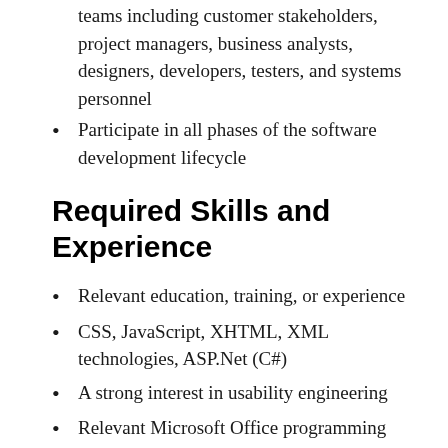teams including customer stakeholders, project managers, business analysts, designers, developers, testers, and systems personnel
Participate in all phases of the software development lifecycle
Required Skills and Experience
Relevant education, training, or experience
CSS, JavaScript, XHTML, XML technologies, ASP.Net (C#)
A strong interest in usability engineering
Relevant Microsoft Office programming experience